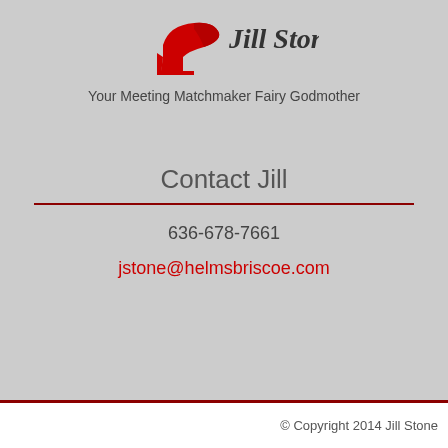[Figure (logo): Jill Stone logo: red high-heel shoe silhouette next to cursive 'Jill Stone' text in dark gray]
Your Meeting Matchmaker Fairy Godmother
Contact Jill
636-678-7661
jstone@helmsbriscoe.com
© Copyright 2014 Jill Stone